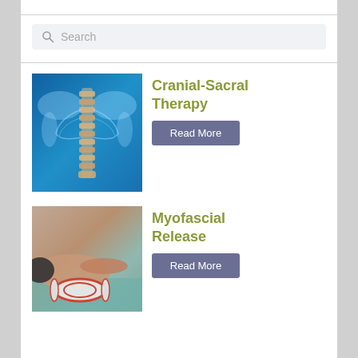Search
[Figure (photo): Medical illustration of human spine and skeletal back anatomy on blue background]
Cranial-Sacral Therapy
Read More
[Figure (photo): Person using a foam roller on a yoga mat for myofascial release therapy]
Myofascial Release
Read More